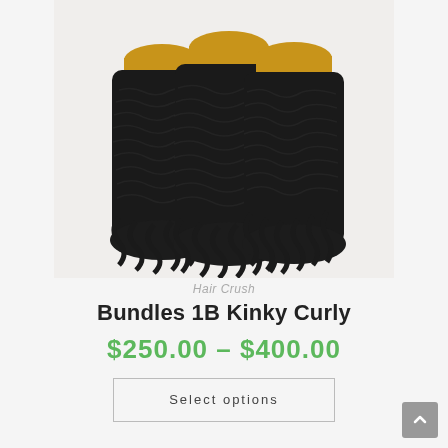[Figure (photo): Three bundles of kinky curly hair extensions with gold-wrapped wefts at the top, black curly hair cascading down, displayed on a white/light gray background.]
Hair Crush
Bundles 1B Kinky Curly
$250.00 – $400.00
Select options